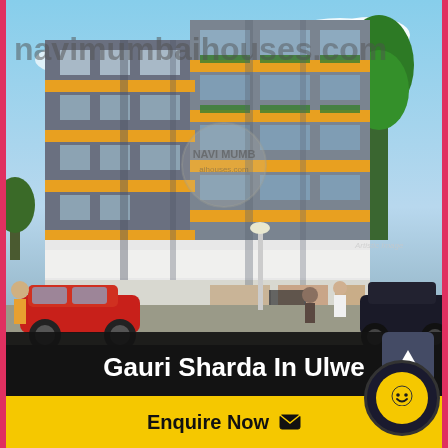[Figure (illustration): Architectural rendering of Gauri Sharda residential building in Ulwe, showing a multi-storey apartment building with yellow and grey facade, balconies with green railings, retail shops on ground floor, cars and people in foreground, sky background. Watermark text 'navimumbaihhouses.com' and 'NAVI MUMB' seal overlaid.]
Gauri Sharda In Ulwe
Enquire Now